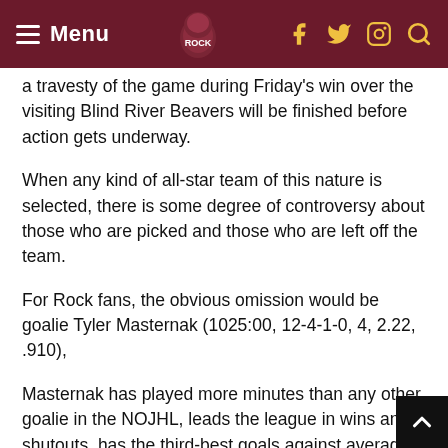Menu
a travesty of the game during Friday's win over the visiting Blind River Beavers will be finished before action gets underway.
When any kind of all-star team of this nature is selected, there is some degree of controversy about those who are picked and those who are left off the team.
For Rock fans, the obvious omission would be goalie Tyler Masternak (1025:00, 12-4-1-0, 4, 2.22, .910),
Masternak has played more minutes than any other goalie in the NOJHL, leads the league in wins and shutouts, has the third-best goals against average — ranking him behind only Brassard and his Gold Miners teammate Dawson Rodin (366:00, 5-2-0-0, 3, 1.97, .939),
In case you were wondering, Vrbetic is 12th in minu